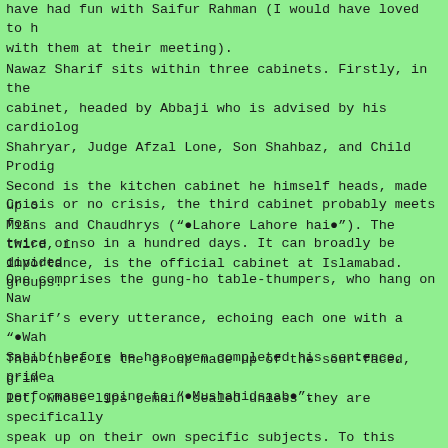have had fun with Saifur Rahman (I would have loved to have been with them at their meeting).
Nawaz Sharif sits within three cabinets. Firstly, in the family cabinet, headed by Abbaji who is advised by his cardiologist, Shahryar, Judge Afzal Lone, Son Shahbaz, and Child Prodigy Hamza. Second is the kitchen cabinet he himself heads, made up of the Mians and Chaudhrys (“Lahore Lahore hai”). The third, in order of importance, is the official cabinet at Islamabad.
Crisis or no crisis, the third cabinet probably meets for about twice or so in a hundred days. It can broadly be divided into two groups.
One comprises the gung-ho table-thumpers, who hang on Nawaz Sharif’s every utterance, echoing each one with a “Wah Wah Sahib” before he has even completed his sentence, pride of performance going to “Mushahidsaab”.
Then there is the group made up of the sour-faced, grim and silent lot, whose lips remain sealed unless they are specifically asked to speak up on their own specific subjects. To this second group belongs Khalid Anwer, an intelligent man who has proved to be a bitter disappointment. He cannot match his predecessor in law, the law champion of all governments, Jadoogar Syed Sharifuddin Pirzada, who at least is honest enough to laugh and say. “Accept me warts, with warts, blemishes, briefcases and all. If it were not for all the weak and corrupt governments of Pakistan, I would not be where I am today.” Sharifuddin never places himself on a pedestal or looks down on a lesser mortal. Khalid Anwer would do well to